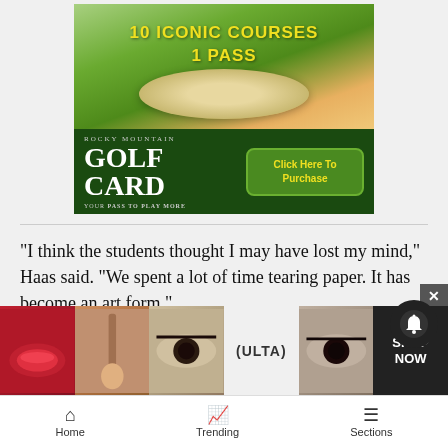[Figure (photo): Rocky Mountain Golf Card advertisement banner showing golf course with sand bunkers and sunset sky. Text reads '10 ICONIC COURSES 1 PASS' in yellow, 'ROCKY MOUNTAIN GOLF CARD YOUR PASS TO PLAY MORE' with a green 'Click Here To Purchase' button.]
“I think the students thought I may have lost my mind,” Haas said. “We spent a lot of time tearing paper. It has become an art form.”
Dun — the Chinese expatriate best known in pop culture … score … nd
[Figure (photo): Ulta Beauty advertisement overlay showing close-up photos of lips, makeup brush, eyes, Ulta logo, and eyes with 'SHOP NOW' text.]
Home   Trending   Sections